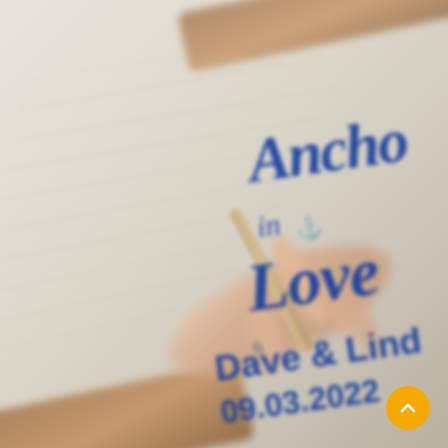[Figure (photo): Blurred close-up photo of a hand holding a pen writing on paper (a guestbook or card), with a nautical-themed wedding stamp/text overlay in blue reading 'Anchored in Love / Dave & Lind... / 09.03.2022.' The background is light cream/beige with faint handwriting. A golden circular scroll-up button is visible in the bottom-right corner.]